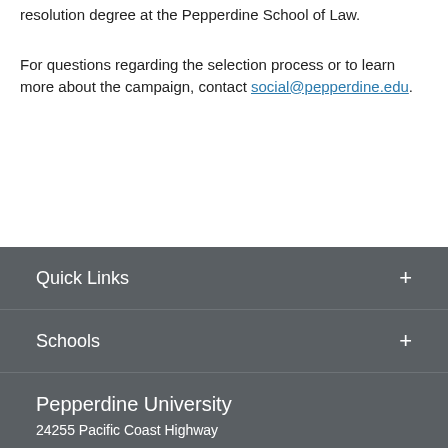resolution degree at the Pepperdine School of Law.
For questions regarding the selection process or to learn more about the campaign, contact social@pepperdine.edu.
Quick Links +
Schools +
Pepperdine University
24255 Pacific Coast Highway